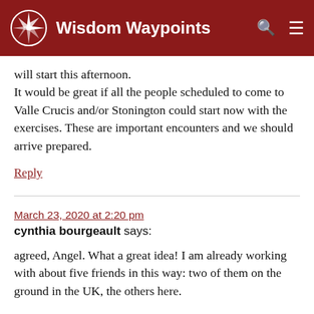Wisdom Waypoints
will start this afternoon.
It would be great if all the people scheduled to come to Valle Crucis and/or Stonington could start now with the exercises. These are important encounters and we should arrive prepared.
Reply
March 23, 2020 at 2:20 pm
cynthia bourgeault says:
agreed, Angel. What a great idea! I am already working with about five friends in this way: two of them on the ground in the UK, the others here.